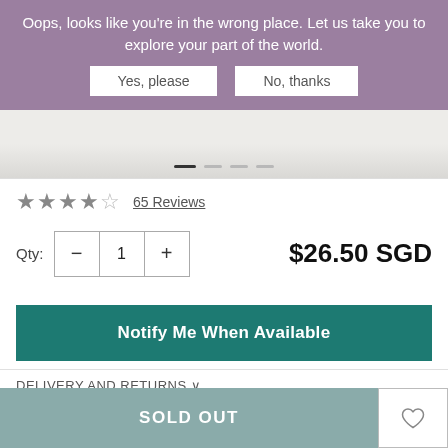Oops, looks like you're in the wrong place. Let us take you to explore your part of the world.
Yes, please
No, thanks
[Figure (photo): Product image with carousel dots]
★★★★☆  65 Reviews
Qty:  −  1  +   $26.50 SGD
Notify Me When Available
DELIVERY AND RETURNS
SOLD OUT